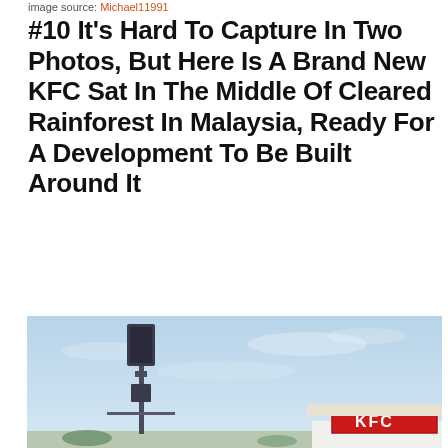image source: Michael11991
#10 It's Hard To Capture In Two Photos, But Here Is A Brand New KFC Sat In The Middle Of Cleared Rainforest In Malaysia, Ready For A Development To Be Built Around It
[Figure (photo): Outdoor photo showing a tall telecommunications tower/mast against a hazy blue sky, with a partially visible KFC restaurant sign and building in the lower right portion of the image.]